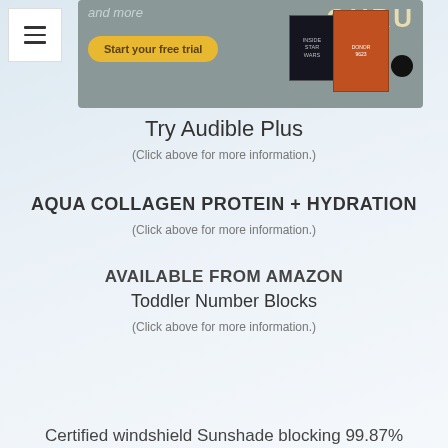[Figure (screenshot): Audible Plus advertisement banner with 'and more' text, 'Start your free trial' yellow button, GURU logo, book covers including Inside Star Wars and Donor 9623]
Try Audible Plus
(Click above for more information.)
AQUA COLLAGEN PROTEIN + HYDRATION
(Click above for more information.)
AVAILABLE FROM AMAZON
Toddler Number Blocks
(Click above for more information.)
Certified windshield Sunshade blocking 99.87%